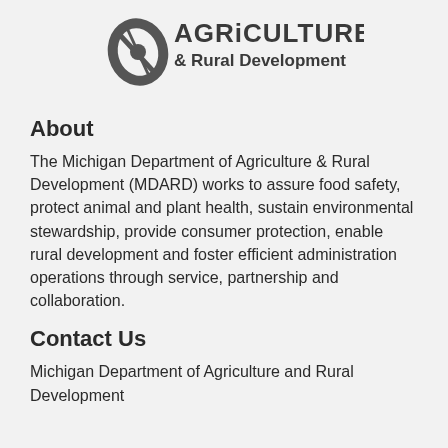[Figure (logo): Michigan Department of Agriculture & Rural Development logo with stylized leaf/mitten icon and bold text]
About
The Michigan Department of Agriculture & Rural Development (MDARD) works to assure food safety, protect animal and plant health, sustain environmental stewardship, provide consumer protection, enable rural development and foster efficient administration operations through service, partnership and collaboration.
Contact Us
Michigan Department of Agriculture and Rural Development